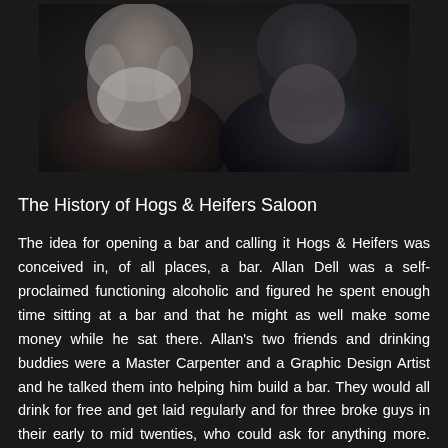[Figure (photo): Two bearded men photographed against a dark background. The man on the left has long wavy gray-white hair and a full white beard. The man on the right has dark hair and a long dark gray beard. Both are wearing dark clothing.]
The History of Hogs & Heifers Saloon
The idea for opening a bar and calling it Hogs & Heifers was conceived in, of all places, a bar. Allan Dell was a self-proclaimed functioning alcoholic and figured he spent enough time sitting at a bar and that he might as well make some money while he sat there. Allan's two friends and drinking buddies were a Master Carpenter and a Graphic Design Artist and he talked them into helping him build a bar. They would all drink for free and get laid regularly and for three broke guys in their early to mid twenties, who could ask for anything more. Allan's father agreed to finance his project if he could find an